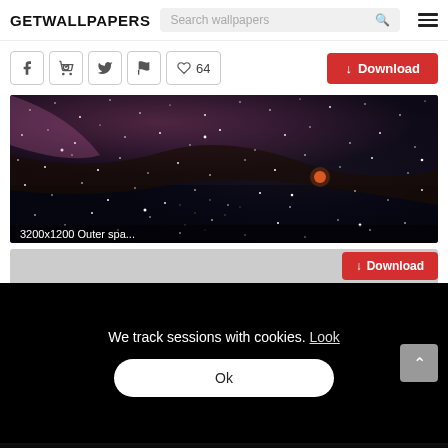GETWALLPAPERS
Search wallpapers
♡ 64
↓ Download
[Figure (photo): Space/nebula wallpaper image showing stars and colorful nebula clouds with label '3200x1200 Outer spa...']
3200x1200 Outer spa...
↓ Download
We track sessions with cookies. Look
Ok